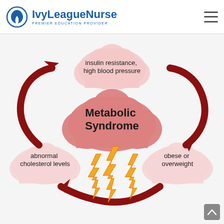IvyLeagueNurse — PREMIER EDUCATION PROVIDER
[Figure (infographic): Circular infographic showing Metabolic Syndrome in the center (large pink cloud with bold text), surrounded by three smaller clouds: top center 'insulin resistance, high blood pressure', bottom left 'abnormal cholesterol levels', bottom right 'obese or overweight'. Three large dark red curved arrows connect the clouds in a cycle. Lightning bolt symbols hang below the central cloud.]